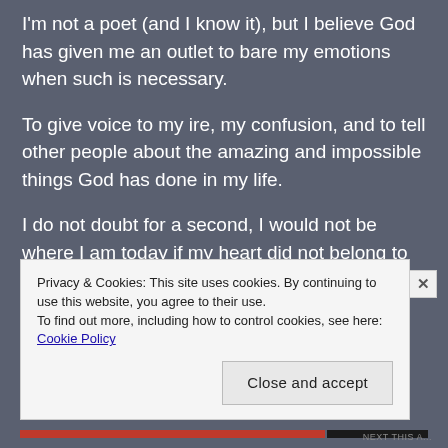I'm not a poet (and I know it), but I believe God has given me an outlet to bare my emotions when such is necessary.
To give voice to my ire, my confusion, and to tell other people about the amazing and impossible things God has done in my life.
I do not doubt for a second, I would not be where I am today if my heart did not belong to him.
Privacy & Cookies: This site uses cookies. By continuing to use this website, you agree to their use.
To find out more, including how to control cookies, see here: Cookie Policy
Close and accept